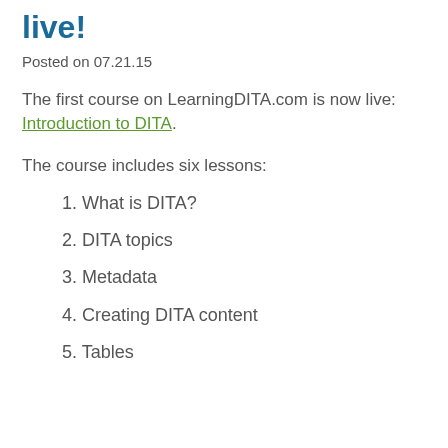live!
Posted on 07.21.15
The first course on LearningDITA.com is now live: Introduction to DITA.
The course includes six lessons:
1. What is DITA?
2. DITA topics
3. Metadata
4. Creating DITA content
5. Tables